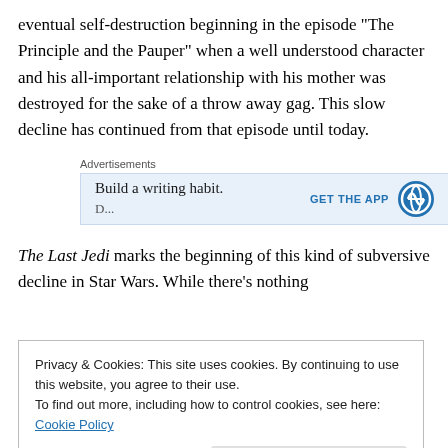eventual self-destruction beginning in the episode “The Principle and the Pauper” when a well understood character and his all-important relationship with his mother was destroyed for the sake of a throw away gag. This slow decline has continued from that episode until today.
[Figure (screenshot): Advertisement box with text 'Build a writing habit.' and 'GET THE APP' button with WordPress logo, on light blue background]
The Last Jedi marks the beginning of this kind of subversive decline in Star Wars. While there’s nothing
Privacy & Cookies: This site uses cookies. By continuing to use this website, you agree to their use.
To find out more, including how to control cookies, see here: Cookie Policy
Close and accept
cannot list any Simpsons fan. But maybe you’re not